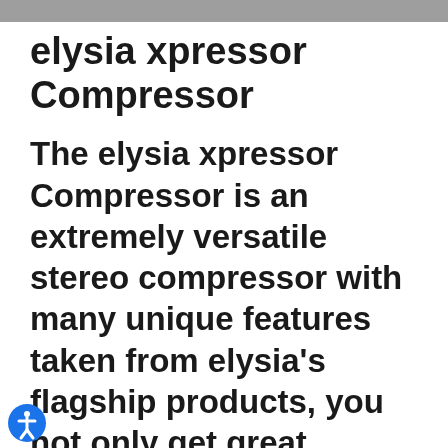elysia xpressor Compressor
elysia xpressor Compressor
The elysia xpressor Compressor is an extremely versatile stereo compressor with many unique features taken from elysia's flagship products, you not only get great compression, but an amount of control on processing which is hardly ever experienced elsewhere.